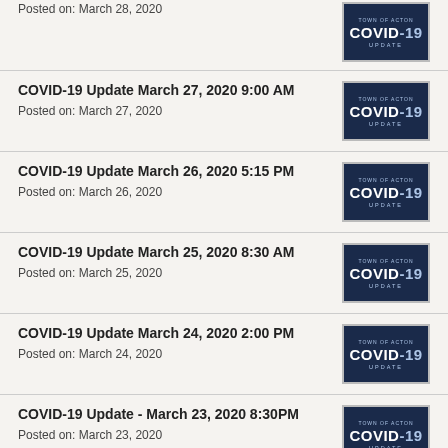Posted on: March 28, 2020
COVID-19 Update March 27, 2020 9:00 AM
Posted on: March 27, 2020
COVID-19 Update March 26, 2020 5:15 PM
Posted on: March 26, 2020
COVID-19 Update March 25, 2020 8:30 AM
Posted on: March 25, 2020
COVID-19 Update March 24, 2020 2:00 PM
Posted on: March 24, 2020
COVID-19 Update - March 23, 2020 8:30PM
Posted on: March 23, 2020